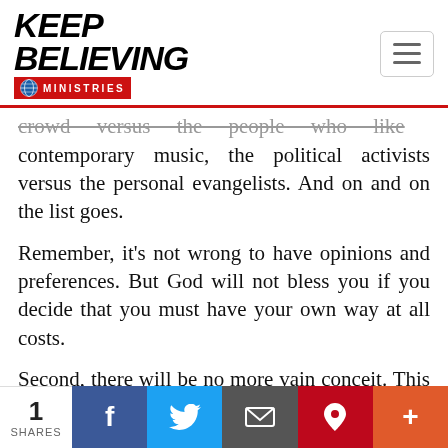[Figure (logo): Keep Believing Ministries logo with globe icon and red bar]
crowd versus the people who like contemporary music, the political activists versus the personal evangelists. And on and on the list goes.
Remember, it’s not wrong to have opinions and preferences. But God will not bless you if you decide that you must have your own way at all costs.
Second, there will be no more vain conceit. This phrase translates a word that means
[Figure (infographic): Social share bar at bottom: 1 SHARES, Facebook, Twitter, Email, Pinterest, More buttons]